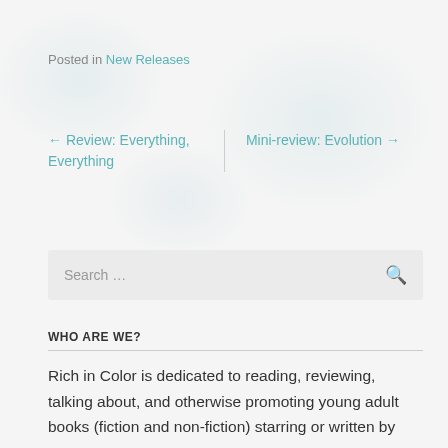Posted in New Releases
← Review: Everything, Everything
Mini-review: Evolution →
Search ...
WHO ARE WE?
Rich in Color is dedicated to reading, reviewing, talking about, and otherwise promoting young adult books (fiction and non-fiction) starring or written by BIPOC.